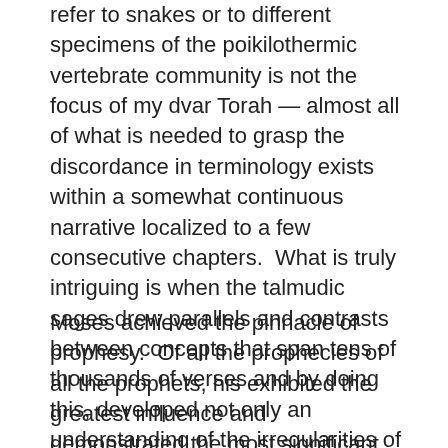refer to snakes or to different specimens of the poikilothermic vertebrate community is not the focus of my dvar Torah — almost all of what is needed to grasp the discordance in terminology exists within a somewhat continuous narrative localized to a few consecutive chapters.  What is truly intriguing is when the talmudic sages drew parallels and contrasts between concepts that span tens of thousands of verses and by doing this, developed not only an understanding of the irregularities of the text from a limited perspective, but from a very global one as well.
Moses achieved the pinnacle of prophesy.  Of all the prophecies of all the prophets, his exhibited the greatest influence and demonstrated the most significant importance.  The greatest change ever to occur to the Jewish people occurred under the auspices of Moses and to him we arguably owe our greatest debt, assuming one is interested whatsoever is recognizing the importance of the Torah he brought to us from on High.
According the the Akivan school of thought, Moses was a purely passive vessel — a receptacle through which the divine message